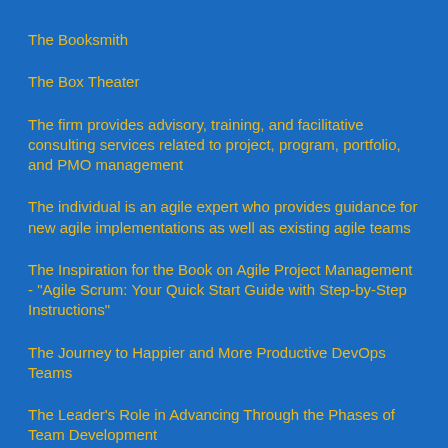The Booksmith
The Box Theater
The firm provides advisory, training, and facilitative consulting services related to project, program, portfolio, and PMO management
The individual is an agile expert who provides guidance for new agile implementations as well as existing agile teams
The Inspiration for the Book on Agile Project Management - "Agile Scrum: Your Quick Start Guide with Step-by-Step Instructions"
The Journey to Happier and More Productive DevOps Teams
The Leader's Role in Advancing Through the Phases of Team Development